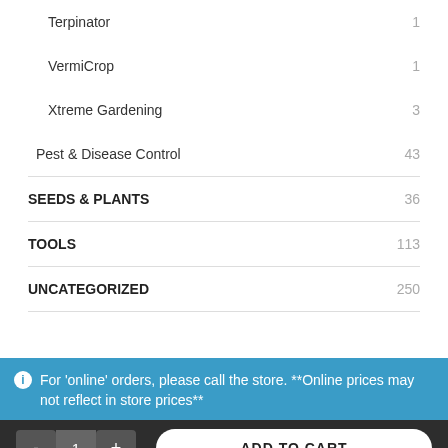Terpinator 1
VermiCrop 1
Xtreme Gardening 3
Pest & Disease Control 43
SEEDS & PLANTS 36
TOOLS 113
UNCATEGORIZED 250
For 'online' orders, please call the store. **Online prices may not reflect in store prices**
- 1 + ADD TO CART